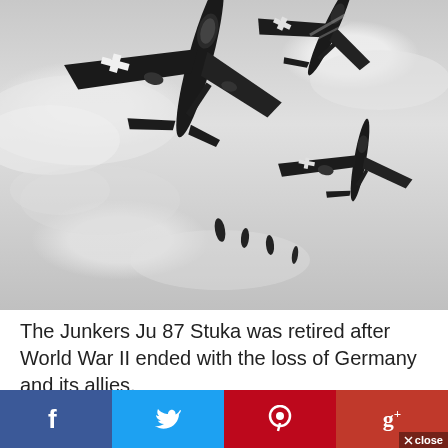[Figure (photo): Black and white photograph of Junkers Ju 87 Stuka dive bombers in flight, dropping bombs, with German Luftwaffe cross markings visible on the wings, cloudy sky background.]
The Junkers Ju 87 Stuka was retired after World War II ended with the loss of Germany and its allies.
Social sharing bar with Facebook, Twitter, Pinterest, Google+ and close button